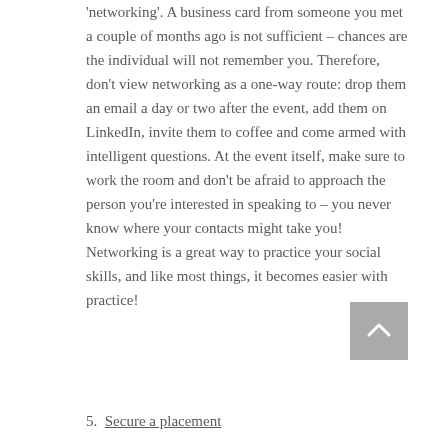'networking'. A business card from someone you met a couple of months ago is not sufficient – chances are the individual will not remember you. Therefore, don't view networking as a one-way route: drop them an email a day or two after the event, add them on LinkedIn, invite them to coffee and come armed with intelligent questions. At the event itself, make sure to work the room and don't be afraid to approach the person you're interested in speaking to – you never know where your contacts might take you! Networking is a great way to practice your social skills, and like most things, it becomes easier with practice!
5.  Secure a placement